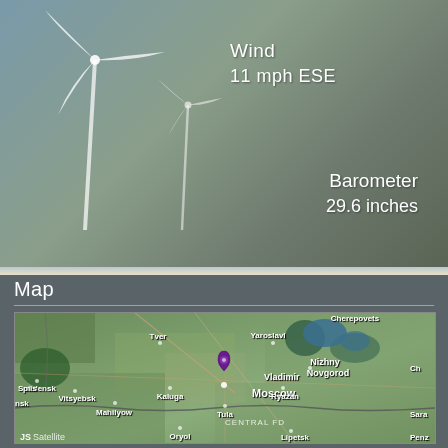[Figure (infographic): Wind turbine illustration on dark greenish-gray background with wind speed and barometer readings]
Wind
11 mph ESE
Barometer
29.6 inches
Map
[Figure (map): Satellite map centered on Moscow, Russia, showing surrounding cities including Tver, Vladimir, Yaroslavl, Nizhny Novgorod, Smolensk, Vitsyebsk, Kaluga, Tula, Ryazan, Oryol, Lipetsk, Mahilyow, with a purple location pin on Moscow. Labels include CENTRAL FD and JS Satellite watermark.]